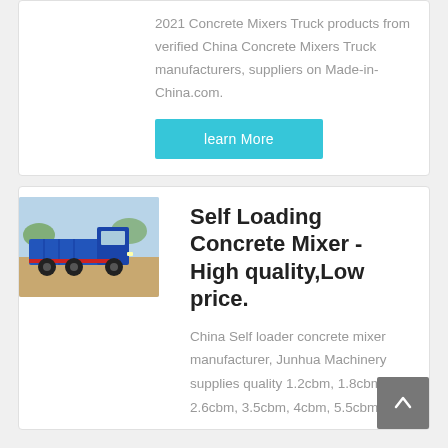2021 Concrete Mixers Truck products from verified China Concrete Mixers Truck manufacturers, suppliers on Made-in-China.com.
learn More
[Figure (photo): Blue dump truck / concrete mixer truck on dirt ground]
Self Loading Concrete Mixer - High quality,Low price.
China Self loader concrete mixer manufacturer, Junhua Machinery supplies quality 1.2cbm, 1.8cbm, 2.6cbm, 3.5cbm, 4cbm, 5.5cbm,